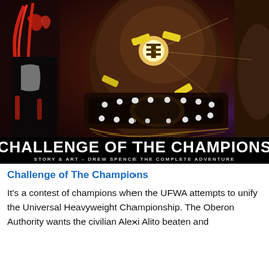[Figure (illustration): Book cover for 'Challenge of The Champions' showing a muscular wrestler wearing a championship belt with a masked character to the left side, dark dramatic lighting with red and gold tones. Text at bottom: 'CHALLENGE OF THE CHAMPIONS' and 'STORY & ART - DREW SPENCE  THE COMPLETE ADVENTURE']
Challenge of The Champions
It's a contest of champions when the UFWA attempts to unify the Universal Heavyweight Championship. The Oberon Authority wants the civilian Alexi Alito beaten and